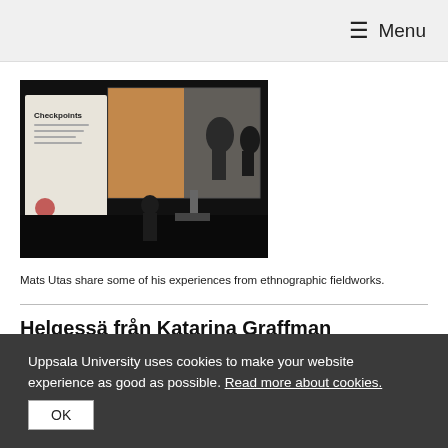≡ Menu
[Figure (photo): A presentation or lecture event showing a projected image screen with people, and a booklet titled 'Checkpoints' in the foreground, photographed in a darkened room.]
Mats Utas share some of his experiences from ethnographic fieldworks.
Helgessä från Katarina Graffman
Uppsala University uses cookies to make your website experience as good as possible. Read more about cookies. OK